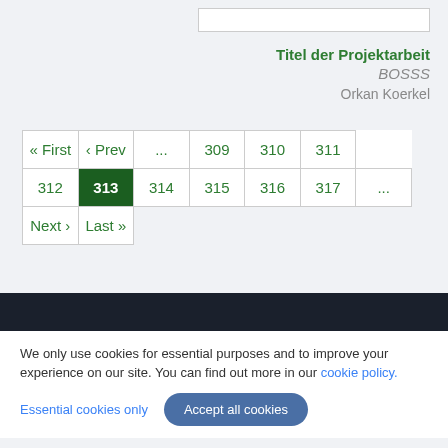Titel der Projektarbeit
BOSSS
Orkan Koerkel
| « First | ‹ Prev | ... | 309 | 310 | 311 |
| 312 | 313 | 314 | 315 | 316 | 317 | ... |
| Next › | Last » |
We only use cookies for essential purposes and to improve your experience on our site. You can find out more in our cookie policy.
Essential cookies only
Accept all cookies